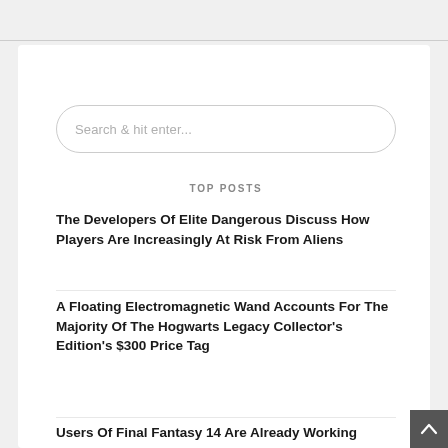[Figure (screenshot): Search input box with placeholder text 'Search & hit enter...' styled with rounded corners]
TOP POSTS
The Developers Of Elite Dangerous Discuss How Players Are Increasingly At Risk From Aliens
A Floating Electromagnetic Wand Accounts For The Majority Of The Hogwarts Legacy Collector's Edition's $300 Price Tag
Users Of Final Fantasy 14 Are Already Working...